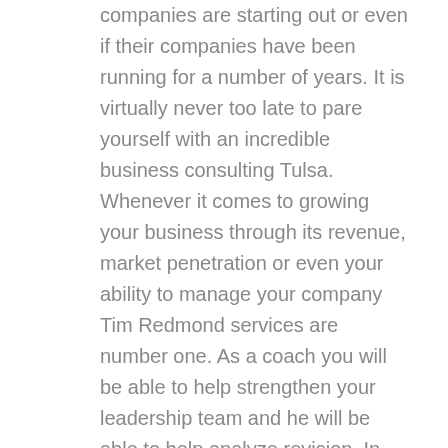companies are starting out or even if their companies have been running for a number of years. It is virtually never too late to pare yourself with an incredible business consulting Tulsa. Whenever it comes to growing your business through its revenue, market penetration or even your ability to manage your company Tim Redmond services are number one. As a coach you will be able to help strengthen your leadership team and he will be able to help analyze revision. In doing so he'll be able to provide you with action steps to take immediately and efforts to grow your company in business. This is an extremely utilizable service that many people have latched onto throughout the metro area.
Tim Redmond is even an incredible public speaker who has delivered messages to thousands upon thousands of people in efforts to help them realize their own successes in life. If you're struggling with